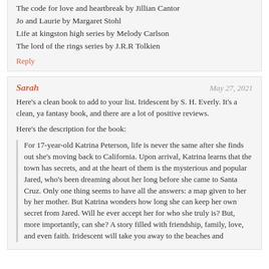The code for love and heartbreak by Jillian Cantor
Jo and Laurie by Margaret Stohl
Life at kingston high series by Melody Carlson
The lord of the rings series by J.R.R Tolkien
Reply
Sarah — May 27, 2021
Here's a clean book to add to your list. Iridescent by S. H. Everly. It's a clean, ya fantasy book, and there are a lot of positive reviews.
Here's the description for the book:
For 17-year-old Katrina Peterson, life is never the same after she finds out she's moving back to California. Upon arrival, Katrina learns that the town has secrets, and at the heart of them is the mysterious and popular Jared, who's been dreaming about her long before she came to Santa Cruz. Only one thing seems to have all the answers: a map given to her by her mother. But Katrina wonders how long she can keep her own secret from Jared. Will he ever accept her for who she truly is? But, more importantly, can she? A story filled with friendship, family, love, and even faith. Iridescent will take you away to the beaches and